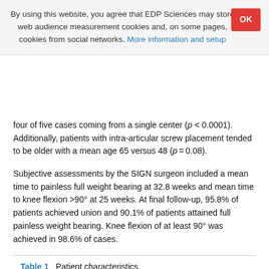By using this website, you agree that EDP Sciences may store web audience measurement cookies and, on some pages, cookies from social networks. More information and setup
four of five cases coming from a single center (p < 0.0001). Additionally, patients with intra-articular screw placement tended to be older with a mean age 65 versus 48 (p = 0.08).
Subjective assessments by the SIGN surgeon included a mean time to painless full weight bearing at 32.8 weeks and mean time to knee flexion >90° at 25 weeks. At final follow-up, 95.8% of patients achieved union and 90.1% of patients attained full painless weight bearing. Knee flexion of at least 90° was achieved in 98.6% of cases.
Table 1   Patient characteristics.
Table 2   ...